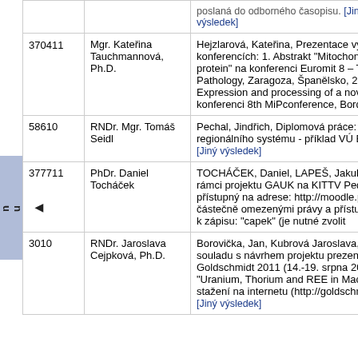| ID | Name | Description |
| --- | --- | --- |
|  |  | poslaná do odborného časopisu. [Jiný výsledek] |
| 370411 | Mgr. Kateřina Tauchmannová, Ph.D. | Hejzlarová, Kateřina, Prezentace výsle konferencích: 1. Abstrakt "Mitochondria protein" na konferenci Euromit 8 – The Pathology, Zaragoza, Španělsko, 20.-2 Expression and processing of a novel konferenci 8th MiPconference, Bordea |
| 58610 | RNDr. Mgr. Tomáš Seidl | Pechal, Jindřich, Diplomová práce: (20 regionálního systému - příklad VÚ Brd [Jiný výsledek] |
| 377711 | PhDr. Daniel Tocháček | TOCHÁČEK, Daniel, LAPEŠ, Jakub, E rámci projektu GAUK na KITTV PedF přístupný na adrese: http://moodle.pec (s částečně omezenými právy a přístu klíče k zápisu: "capek" (je nutné zvolit |
| 3010 | RNDr. Jaroslava Cejpková, Ph.D. | Borovička, Jan, Kubrová Jaroslava, Rc souladu s návrhem projektu prezentov Goldschmidt 2011 (14.-19. srpna 2011 "Uranium, Thorium and REE in Macrof stažení na internetu (http://goldschmid [Jiný výsledek] |